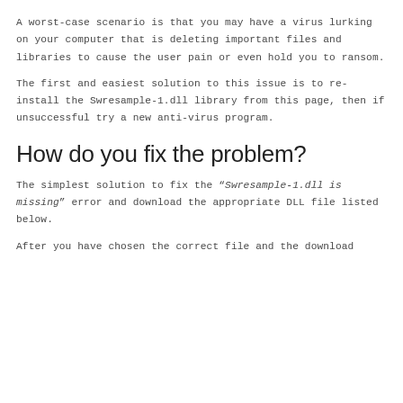A worst-case scenario is that you may have a virus lurking on your computer that is deleting important files and libraries to cause the user pain or even hold you to ransom.
The first and easiest solution to this issue is to re-install the Swresample-1.dll library from this page, then if unsuccessful try a new anti-virus program.
How do you fix the problem?
The simplest solution to fix the “Swresample-1.dll is missing” error and download the appropriate DLL file listed below.
After you have chosen the correct file and the download